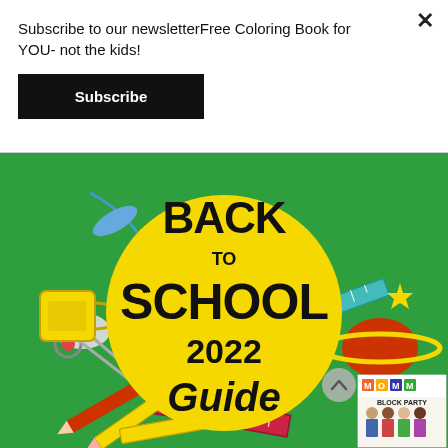Subscribe to our newsletterFree Coloring Book for YOU- not the kids!
Subscribe
[Figure (illustration): Back to School 2022 Guide colorful illustration with school supplies on green background, featuring a large yellow circle with 'BACK TO SCHOOL 2022 Guide' text in bold black lettering, surrounded by scissors, pencils, ruler, mug, planet, stars, and other school items. Small thumbnail in bottom right corner showing a community block party flyer.]